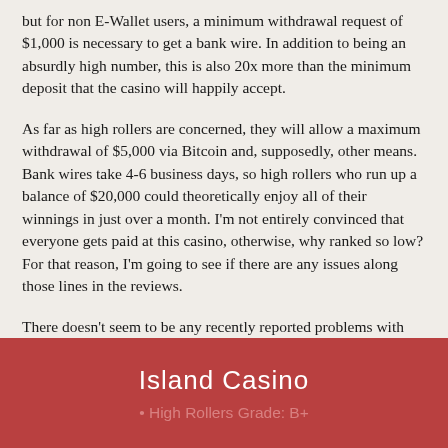but for non E-Wallet users, a minimum withdrawal request of $1,000 is necessary to get a bank wire. In addition to being an absurdly high number, this is also 20x more than the minimum deposit that the casino will happily accept.
As far as high rollers are concerned, they will allow a maximum withdrawal of $5,000 via Bitcoin and, supposedly, other means. Bank wires take 4-6 business days, so high rollers who run up a balance of $20,000 could theoretically enjoy all of their winnings in just over a month. I'm not entirely convinced that everyone gets paid at this casino, otherwise, why ranked so low? For that reason, I'm going to see if there are any issues along those lines in the reviews.
There doesn't seem to be any recently reported problems with payouts, so I'm going to give this one a pretty strong grade for high rollers. Obviously, when it comes to low-rolling players, this casino basically went out of its way to fail...
Island Casino
High Rollers Grade: B+